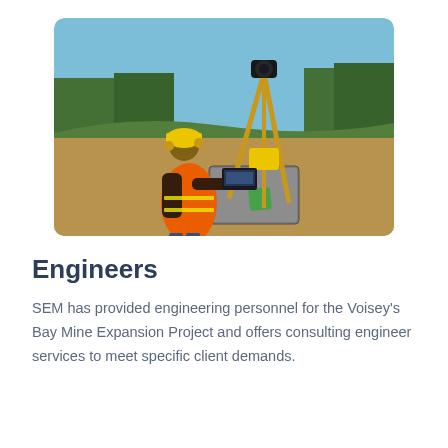[Figure (photo): A field engineer wearing an orange high-visibility safety vest and yellow hard hat with ear muffs, operating a laptop computer on a travel case next to a surveying tripod instrument, outdoors in a dry grassland setting with trees in the background and a blue sky.]
Engineers
SEM has provided engineering personnel for the Voisey's Bay Mine Expansion Project and offers consulting engineer services to meet specific client demands.